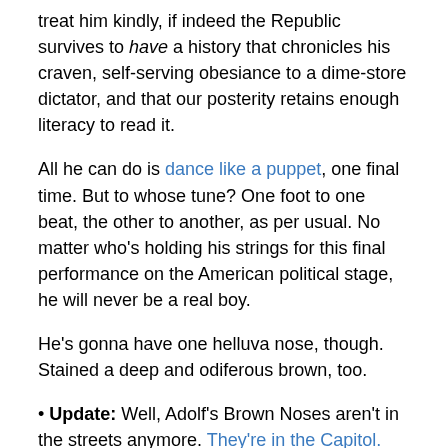treat him kindly, if indeed the Republic survives to have a history that chronicles his craven, self-serving obesiance to a dime-store dictator, and that our posterity retains enough literacy to read it.
All he can do is dance like a puppet, one final time. But to whose tune? One foot to one beat, the other to another, as per usual. No matter who's holding his strings for this final performance on the American political stage, he will never be a real boy.
He's gonna have one helluva nose, though. Stained a deep and odiferous brown, too.
• Update: Well, Adolf's Brown Noses aren't in the streets anymore. They're in the Capitol. Naturally, they didn't check their white privilege at the door. These dudes were Black, they'd have been dead 10 times already. I also